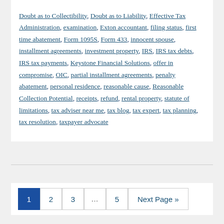Doubt as to Collectibility, Doubt as to Liability, Effective Tax Administration, examination, Exton accountant, filing status, first time abatement, Form 1095S, Form 433, innocent spouse, installment agreements, investment property, IRS, IRS tax debts, IRS tax payments, Keystone Financial Solutions, offer in compromise, OIC, partial installment agreements, penalty abatement, personal residence, reasonable cause, Reasonable Collection Potential, receipts, refund, rental property, statute of limitations, tax adviser near me, tax blog, tax expert, tax planning, tax resolution, taxpayer advocate
1 2 3 ... 5 Next Page »